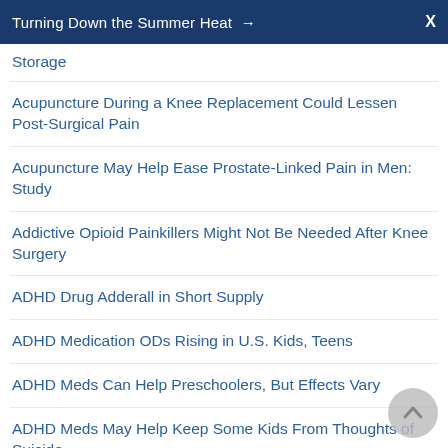Turning Down the Summer Heat →  X
Storage
Acupuncture During a Knee Replacement Could Lessen Post-Surgical Pain
Acupuncture May Help Ease Prostate-Linked Pain in Men: Study
Addictive Opioid Painkillers Might Not Be Needed After Knee Surgery
ADHD Drug Adderall in Short Supply
ADHD Medication ODs Rising in U.S. Kids, Teens
ADHD Meds Can Help Preschoolers, But Effects Vary
ADHD Meds May Help Keep Some Kids From Thoughts of Suicide
ADHD Raises Adult Suicide Risk, Especially for Women
Aduhelm: Will Medicare Cover the Controversial